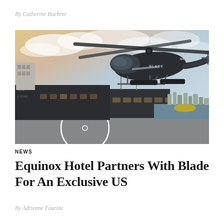By Catherine Buehrer
[Figure (photo): A dark military-style helicopter branded 'BLADE' (registration N408GG) hovering over a helipad near a waterfront. Below is a dark modular building with signage, an American flag on a pole, and a city skyline in the background under a partly cloudy sky.]
NEWS
Equinox Hotel Partners With Blade For An Exclusive US
By Adrienne Faurote